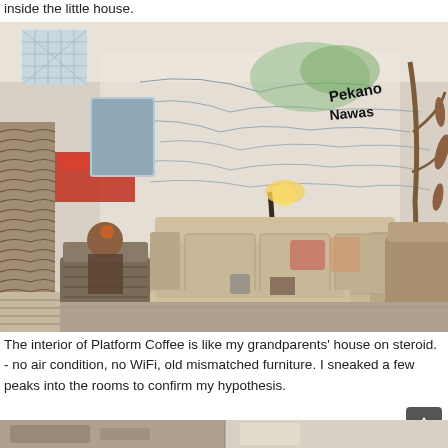inside the little house.
[Figure (photo): Interior of Platform Coffee showing a cozy room with mismatched vintage furniture, sofas, a floor lamp, and a large hand-drawn map mural on the white wall. A person sits in one of the armchairs.]
The interior of Platform Coffee is like my grandparents' house on steroid. - no air condition, no WiFi, old mismatched furniture. I sneaked a few peaks into the rooms to confirm my hypothesis.
[Figure (photo): Bottom portion of another photo visible at the very bottom of the page.]